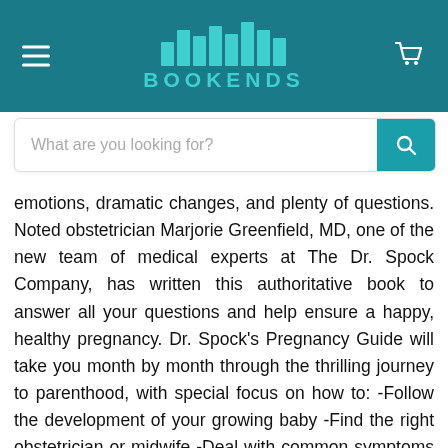BOOKENDS
emotions, dramatic changes, and plenty of questions. Noted obstetrician Marjorie Greenfield, MD, one of the new team of medical experts at The Dr. Spock Company, has written this authoritative book to answer all your questions and help ensure a happy, healthy pregnancy. Dr. Spock’s Pregnancy Guide will take you month by month through the thrilling journey to parenthood, with special focus on how to: -Follow the development of your growing baby -Find the right obstetrician or midwife -Deal with common symptoms and problems -Plan the kind of childbirth experience you want –Get good care every step of the way, and more For more than 50 years, Dr. Benjamin Spock was the world’s best-known pediatrician. Drawing upon his trusted philosophy of baby